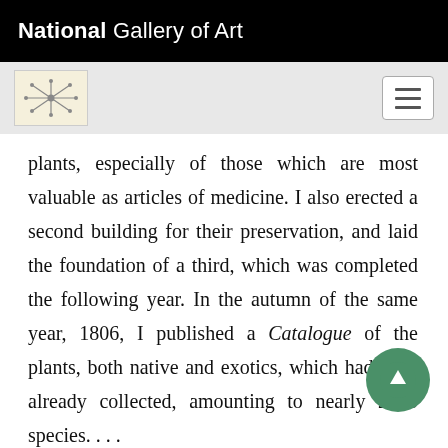National Gallery of Art
plants, especially of those which are most valuable as articles of medicine. I also erected a second building for their preservation, and laid the foundation of a third, which was completed the following year. In the autumn of the same year, 1806, I published a Catalogue of the plants, both native and exotics, which had been already collected, amounting to nearly 2000 species. . . .
"I had now erected, on the most improved plan, for the preservation of such plants as require protection from the severity of our climate three large and well constructed houses, exhibiting a front of one